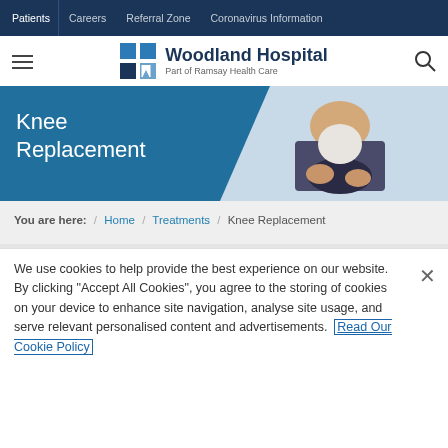Patients | Careers | Referral Zone | Coronavirus Information
[Figure (logo): Woodland Hospital logo with blue grid icon and text 'Part of Ramsay Health Care']
Knee Replacement
You are here: / Home / Treatments / Knee Replacement
We use cookies to help provide the best experience on our website. By clicking "Accept All Cookies", you agree to the storing of cookies on your device to enhance site navigation, analyse site usage, and serve relevant personalised content and advertisements. Read Our Cookie Policy